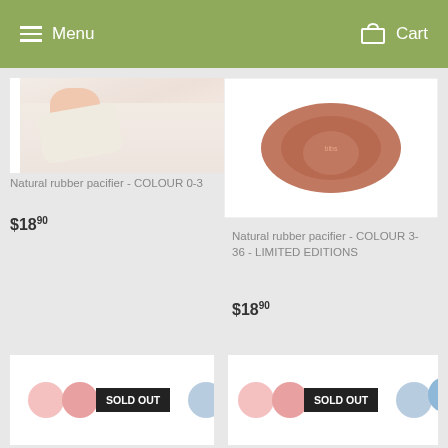Menu  Cart
[Figure (photo): Baby wearing white knit sweater, product image for Natural rubber pacifier COLOUR 0-3]
Natural rubber pacifier - COLOUR 0-3
$18.90
[Figure (photo): Brown/terracotta natural rubber pacifier shield closeup, product image for Natural rubber pacifier COLOUR 3-36 LIMITED EDITIONS]
Natural rubber pacifier - COLOUR 3-36 - LIMITED EDITIONS
$18.90
[Figure (photo): Four pacifier shields in pink and blue colors with SOLD OUT badge overlay]
[Figure (photo): Four pacifier shields in pink and blue colors with SOLD OUT badge overlay]